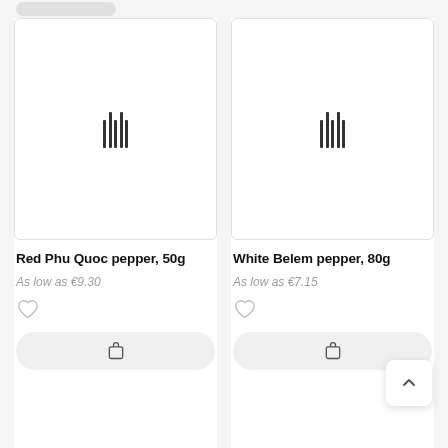[Figure (screenshot): Product card for Red Phu Quoc pepper 50g showing placeholder barcode image, price As low as €9.30, heart/wishlist icon, and add to cart button]
Red Phu Quoc pepper, 50g
As low as €9.30
[Figure (screenshot): Product card for White Belem pepper 80g showing placeholder barcode image, price As low as €7.15, heart/wishlist icon, and add to cart button]
White Belem pepper, 80g
As low as €7.15